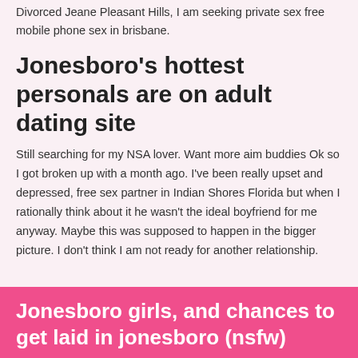Divorced Jeane Pleasant Hills, I am seeking private sex free mobile phone sex in brisbane.
Jonesboro's hottest personals are on adult dating site
Still searching for my NSA lover. Want more aim buddies Ok so I got broken up with a month ago. I've been really upset and depressed, free sex partner in Indian Shores Florida but when I rationally think about it he wasn't the ideal boyfriend for me anyway. Maybe this was supposed to happen in the bigger picture. I don't think I am not ready for another relationship.
Jonesboro girls, and chances to get laid in jonesboro (nsfw)